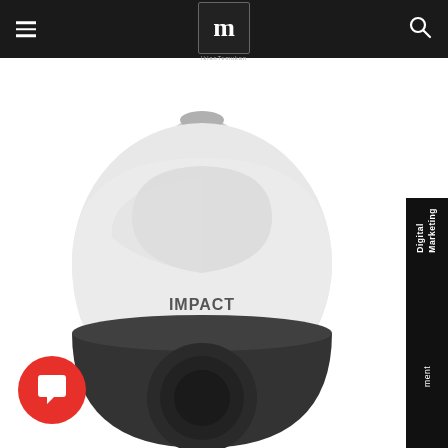Impact by Honeywell — Navigation header with logo and search icon
[Figure (photo): White Honeywell IMPACT PTZ security camera body on white background, showing dome-shaped housing with brand label 'IMPACT by Honeywell']
Digital Marketing
[Figure (other): Red circular chat/messaging button with speech bubble icon]